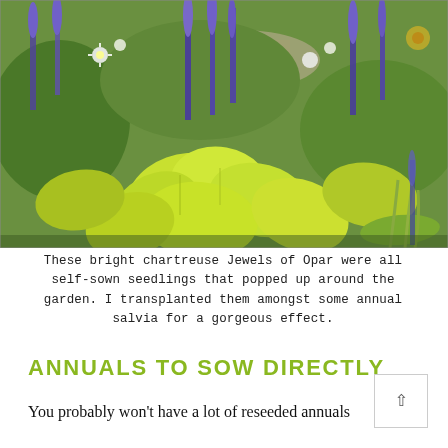[Figure (photo): Garden photograph showing bright chartreuse Jewels of Opar plants with large lime-green leaves in the foreground, alongside tall purple annual salvia flowers. The background shows a garden path and additional flowering plants.]
These bright chartreuse Jewels of Opar were all self-sown seedlings that popped up around the garden. I transplanted them amongst some annual salvia for a gorgeous effect.
ANNUALS TO SOW DIRECTLY
You probably won't have a lot of reseeded annuals